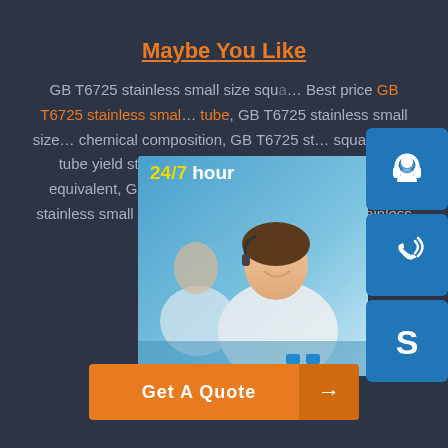Maybe You Like
GB T6725 stainless small size square steel tube, Best price GB T6725 stainless small size square steel tube, GB T6725 stainless small size square steel tube chemical composition, GB T6725 stainless small size square steel tube yield strength, GB T6725 stainless small size square steel tube equivalent, GB T6725 stainless small size square steel tube properties, GB T6725 stainless small size square steel tube
[Figure (photo): Customer service representative smiling, with 24/7 hour banner, contact icons (headset, phone, Skype), and Click to chat button overlay]
Get A Quote →